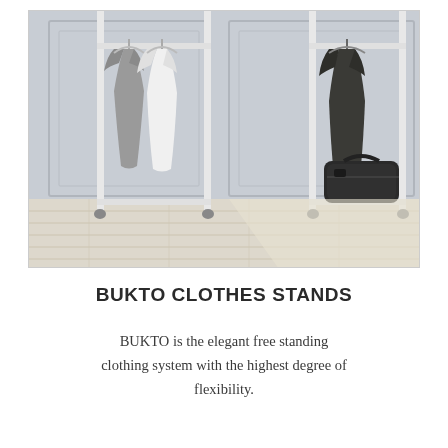[Figure (photo): A free-standing clothing rack system (BUKTO) with white metal poles and casters on a light wood floor against a grey panelled wall. Clothes including grey and white jackets hang from two horizontal bars on the left side, and a dark coat hangs on the right side. A black duffel bag sits on the lower shelf area to the right.]
BUKTO CLOTHES STANDS
BUKTO is the elegant free standing clothing system with the highest degree of flexibility.